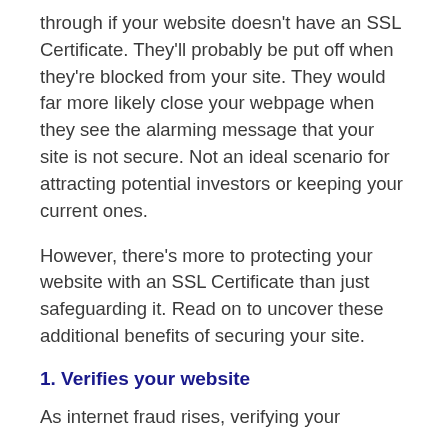through if your website doesn't have an SSL Certificate. They'll probably be put off when they're blocked from your site. They would far more likely close your webpage when they see the alarming message that your site is not secure. Not an ideal scenario for attracting potential investors or keeping your current ones.
However, there's more to protecting your website with an SSL Certificate than just safeguarding it. Read on to uncover these additional benefits of securing your site.
1. Verifies your website
As internet fraud rises, verifying your